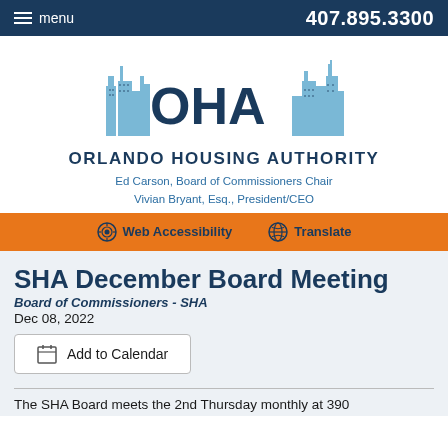menu    407.895.3300
[Figure (logo): Orlando Housing Authority logo with stylized city skyline and OHA letters]
Ed Carson, Board of Commissioners Chair
Vivian Bryant, Esq., President/CEO
Web Accessibility    Translate
SHA December Board Meeting
Board of Commissioners - SHA
Dec 08, 2022
Add to Calendar
The SHA Board meets the 2nd Thursday monthly at 390